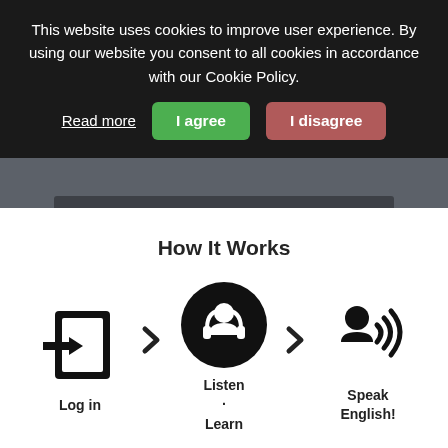This website uses cookies to improve user experience. By using our website you consent to all cookies in accordance with our Cookie Policy.
Read more  I agree  I disagree
How It Works
[Figure (infographic): Three-step how-it-works flow: Log in icon (door with arrow), arrow chevron, Listen & Learn icon (person with headphones in black circle), arrow chevron, Speak English! icon (person speaking with sound waves)]
Log in
Listen · Learn
Speak English!